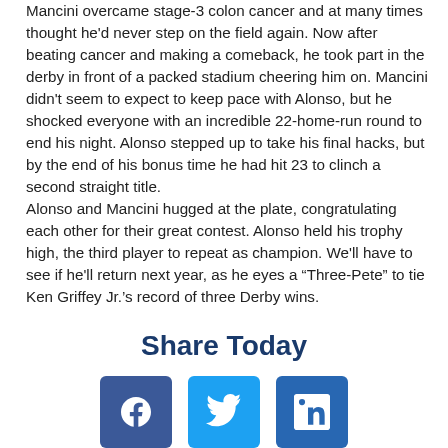Mancini overcame stage-3 colon cancer and at many times thought he'd never step on the field again. Now after beating cancer and making a comeback, he took part in the derby in front of a packed stadium cheering him on. Mancini didn't seem to expect to keep pace with Alonso, but he shocked everyone with an incredible 22-home-run round to end his night. Alonso stepped up to take his final hacks, but by the end of his bonus time he had hit 23 to clinch a second straight title.
Alonso and Mancini hugged at the plate, congratulating each other for their great contest. Alonso held his trophy high, the third player to repeat as champion. We'll have to see if he'll return next year, as he eyes a "Three-Pete" to tie Ken Griffey Jr.'s record of three Derby wins.
Share Today
[Figure (other): Three social share buttons: Facebook (dark blue), Twitter (light blue), LinkedIn (medium blue)]